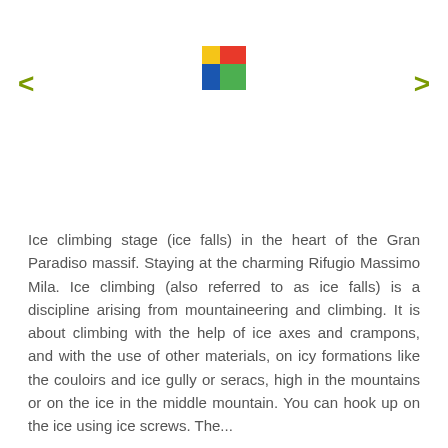[Figure (logo): Colorful block logo made of overlapping squares in yellow, red, blue, and green]
Ice climbing stage (ice falls) in the heart of the Gran Paradiso massif. Staying at the charming Rifugio Massimo Mila. Ice climbing (also referred to as ice falls) is a discipline arising from mountaineering and climbing. It is about climbing with the help of ice axes and crampons, and with the use of other materials, on icy formations like the couloirs and ice gully or seracs, high in the mountains or on the ice in the middle mountain. You can hook up on the ice using ice screws. The...
READ MORE  >